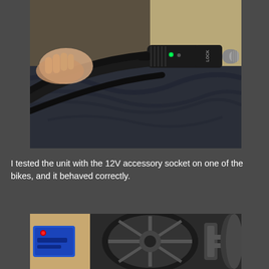[Figure (photo): Close-up photo of a hand holding a black electrical cable with a 12V accessory/cigarette lighter plug connector. The connector has a green LED indicator light, a locking mechanism, and metallic tip. Text 'LOCK' is visible on the connector body. Background shows dark fabric/cloth.]
I tested the unit with the 12V accessory socket on one of the bikes, and it behaved correctly.
[Figure (photo): Close-up photo showing motorcycle parts including a blue device with a red indicator light, metallic brake/clutch levers, black handlebars, and metal clamps/brackets on a motorcycle. Tan/beige background visible.]